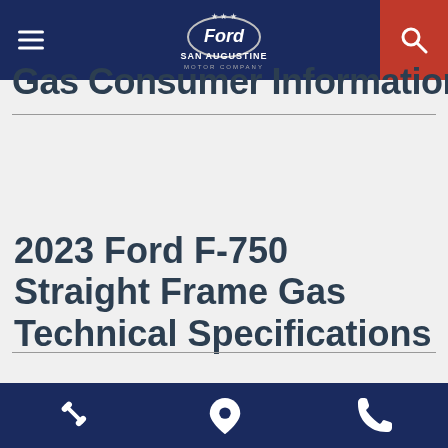San Augustine Motor Company — navigation bar with hamburger menu and search
Gas Consumer Information
2023 Ford F-750 Straight Frame Gas Technical Specifications
Footer bar with wrench, location pin, and phone icons